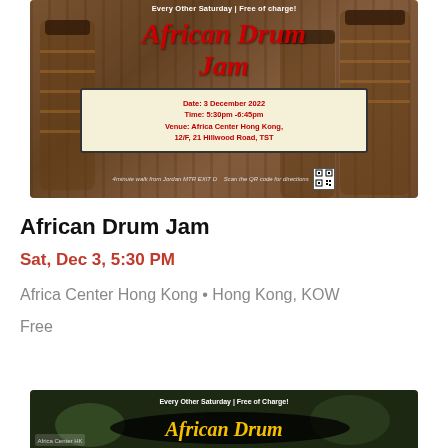[Figure (illustration): Event flyer for African Drum Jam showing African drums background with red italic title text, event details box with date 3 December 2022, time 5:30pm-6:45pm, venue Africa Center Hong Kong 12/F 21 Hillwood Road TST, QR code for directions, text saying Every Other Saturday Free of charge]
African Drum Jam
Sat, Dec 3, 5:30 PM
Africa Center Hong Kong • Hong Kong, KOW
Free
[Figure (illustration): Partial second event flyer for African Drum Jam with green/dark background, Every Other Saturday Free of Charge text, golden italic African Drum text visible, Africa Center HK logo at bottom left]